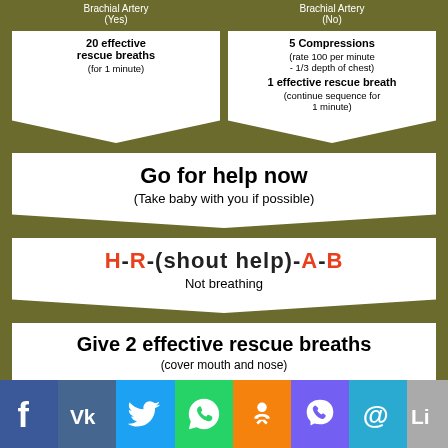[Figure (flowchart): Medical emergency flowchart showing CPR steps for infants. Two top chevron boxes: left: '20 effective rescue breaths (for 1 minute)' from Brachial Artery Yes; right: '5 Compressions (rate 100 per minute - 1/3 depth of chest) 1 effective rescue breath (continue sequence for 1 minute)' from Brachial Artery No. Then full-width: 'Go for help now (Take baby with you if possible)'. Then: 'H-R-(shout help)-A-B Not breathing'. Then: 'Give 2 effective rescue breaths (cover mouth and nose)'. Then two bottom chevron boxes: left 'Assess Circulation Brachial Artery (Yes)'; right 'Assess Circulation Brachial Artery (No)'.]
[Figure (infographic): Social media sharing icons bar: Facebook, VK, Twitter, WhatsApp, Odnoklassniki, Viber, Email, LinkedIn]